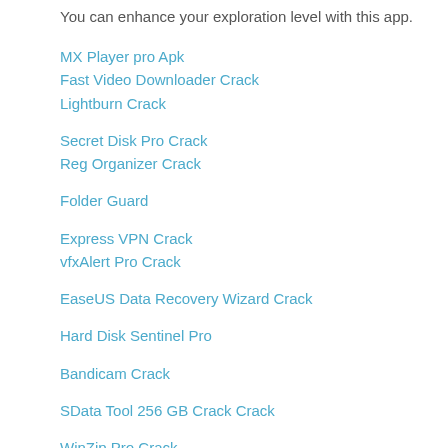You can enhance your exploration level with this app.
MX Player pro Apk
Fast Video Downloader Crack
Lightburn Crack
Secret Disk Pro Crack
Reg Organizer Crack
Folder Guard
Express VPN Crack
vfxAlert Pro Crack
EaseUS Data Recovery Wizard Crack
Hard Disk Sentinel Pro
Bandicam Crack
SData Tool 256 GB Crack Crack
WinZip Pro Crack